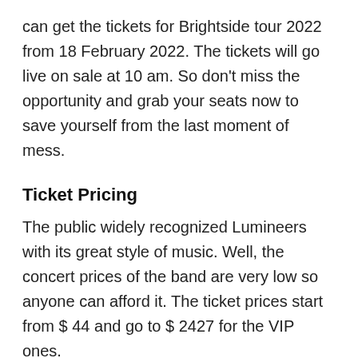can get the tickets for Brightside tour 2022 from 18 February 2022. The tickets will go live on sale at 10 am. So don't miss the opportunity and grab your seats now to save yourself from the last moment of mess.
Ticket Pricing
The public widely recognized Lumineers with its great style of music. Well, the concert prices of the band are very low so anyone can afford it. The ticket prices start from $ 44 and go to $ 2427 for the VIP ones.
Websites Which Are Offering Out Class Ticketing Services
You can book tickets online from reliable and trusted